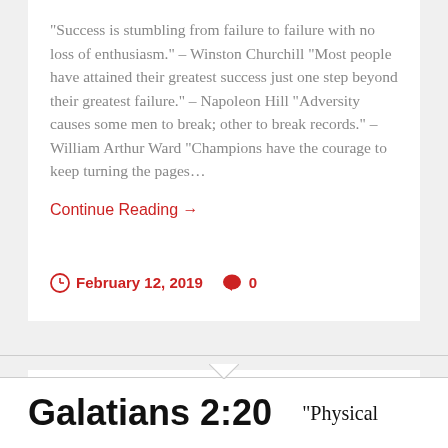“Success is stumbling from failure to failure with no loss of enthusiasm.” – Winston Churchill “Most people have attained their greatest success just one step beyond their greatest failure.” – Napoleon Hill “Adversity causes some men to break; other to break records.” – William Arthur Ward “Champions have the courage to keep turning the pages…
Continue Reading →
February 12, 2019   0
Who am I?
Galatians 2:20   “Physical